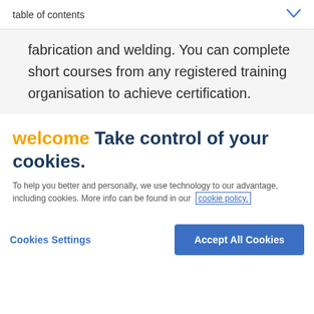table of contents
fabrication and welding. You can complete short courses from any registered training organisation to achieve certification.
welcome Take control of your cookies.
To help you better and personally, we use technology to our advantage, including cookies. More info can be found in our cookie policy.
Cookies Settings
Accept All Cookies